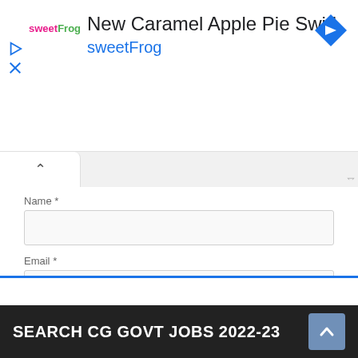[Figure (screenshot): Advertisement banner for sweetFrog 'New Caramel Apple Pie Swirl' with logo, play/close icons, and navigation icon]
[Figure (screenshot): Browser tab bar with active tab showing up chevron and resize handle]
Name *
[Figure (screenshot): Name input text field]
Email *
[Figure (screenshot): Email input text field]
Website
[Figure (screenshot): Website input text field]
Post Comment
SEARCH CG GOVT JOBS 2022-23